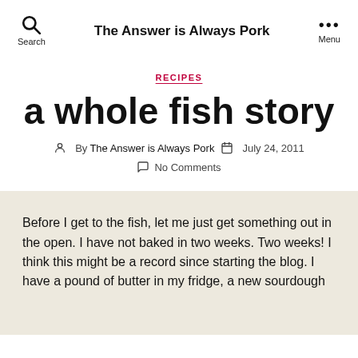Search | The Answer is Always Pork | Menu
RECIPES
a whole fish story
By The Answer is Always Pork   July 24, 2011
No Comments
Before I get to the fish, let me just get something out in the open. I have not baked in two weeks. Two weeks! I think this might be a record since starting the blog. I have a pound of butter in my fridge, a new sourdough